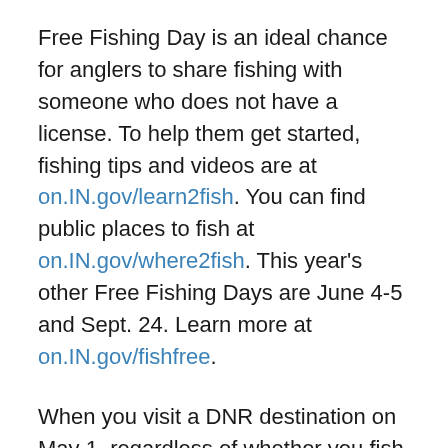Free Fishing Day is an ideal chance for anglers to share fishing with someone who does not have a license. To help them get started, fishing tips and videos are at on.IN.gov/learn2fish. You can find public places to fish at on.IN.gov/where2fish. This year's other Free Fishing Days are June 4-5 and Sept. 24. Learn more at on.IN.gov/fishfree.
When you visit a DNR destination on May 1, regardless of whether you fish, make sure to check in with an Indiana State Nature Passport. Doing so will launch your eligibility for winning prizes from DNR. The grand prize is a package that includes a 2022 State Parks Pass, a $50 gift card for camping, and a subscription to Outdoor Indiana magazine.
In addition, those who donate to the Indiana Natural